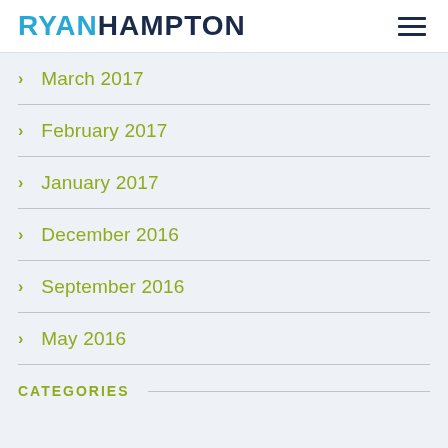RYAN HAMPTON
March 2017
February 2017
January 2017
December 2016
September 2016
May 2016
CATEGORIES